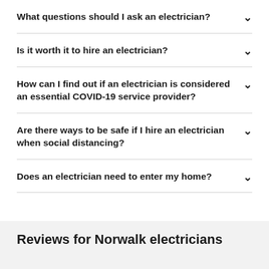What questions should I ask an electrician?
Is it worth it to hire an electrician?
How can I find out if an electrician is considered an essential COVID-19 service provider?
Are there ways to be safe if I hire an electrician when social distancing?
Does an electrician need to enter my home?
Reviews for Norwalk electricians